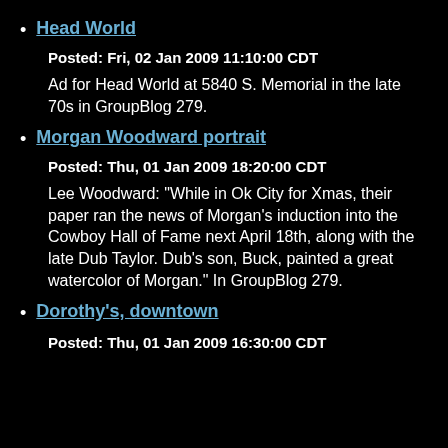Head World
Posted: Fri, 02 Jan 2009 11:10:00 CDT
Ad for Head World at 5840 S. Memorial in the late 70s in GroupBlog 279.
Morgan Woodward portrait
Posted: Thu, 01 Jan 2009 18:20:00 CDT
Lee Woodward: "While in Ok City for Xmas, their paper ran the news of Morgan's induction into the Cowboy Hall of Fame next April 18th, along with the late Dub Taylor. Dub's son, Buck, painted a great watercolor of Morgan." In GroupBlog 279.
Dorothy's, downtown
Posted: Thu, 01 Jan 2009 16:30:00 CDT